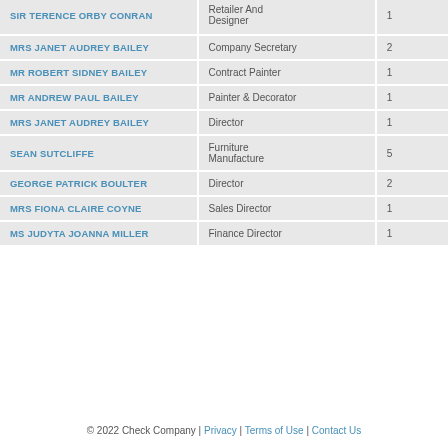| Name | Role | Count |
| --- | --- | --- |
| SIR TERENCE ORBY CONRAN | Retailer And Designer | 1 |
| MRS JANET AUDREY BAILEY | Company Secretary | 2 |
| MR ROBERT SIDNEY BAILEY | Contract Painter | 1 |
| MR ANDREW PAUL BAILEY | Painter & Decorator | 1 |
| MRS JANET AUDREY BAILEY | Director | 1 |
| SEAN SUTCLIFFE | Furniture Manufacture | 5 |
| GEORGE PATRICK BOULTER | Director | 2 |
| MRS FIONA CLAIRE COYNE | Sales Director | 1 |
| MS JUDYTA JOANNA MILLER | Finance Director | 1 |
© 2022 Check Company | Privacy | Terms of Use | Contact Us